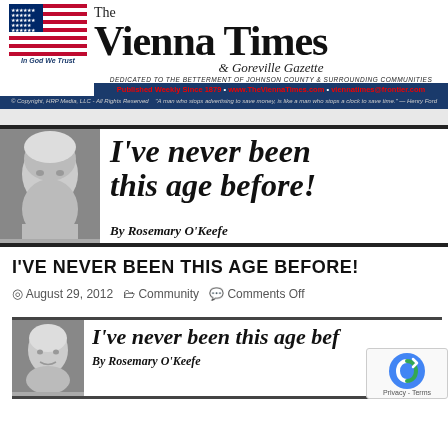[Figure (logo): The Vienna Times & Goreville Gazette newspaper masthead with American flag, publication info, and tagline]
[Figure (illustration): Article banner image showing an elderly woman photo with headline 'I've never been this age before!' and byline 'By Rosemary O'Keefe']
I'VE NEVER BEEN THIS AGE BEFORE!
August 29, 2012   Community   Comments Off
[Figure (illustration): Second article banner image showing elderly woman photo with partial headline 'I've never been this age bef...' and byline 'By Rosemary O'Keefe']